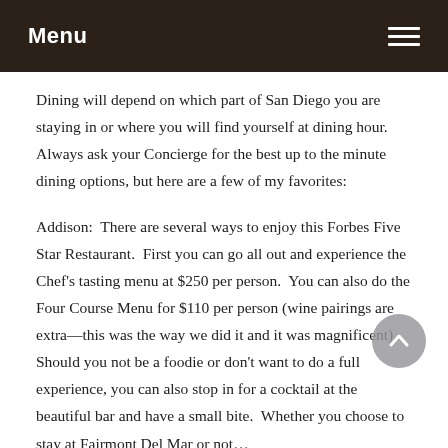Menu
Dining will depend on which part of San Diego you are staying in or where you will find yourself at dining hour. Always ask your Concierge for the best up to the minute dining options, but here are a few of my favorites:
Addison:  There are several ways to enjoy this Forbes Five Star Restaurant.  First you can go all out and experience the Chef's tasting menu at $250 per person.  You can also do the Four Course Menu for $110 per person (wine pairings are extra—this was the way we did it and it was magnificent).  Should you not be a foodie or don't want to do a full experience, you can also stop in for a cocktail at the beautiful bar and have a small bite.  Whether you choose to stay at Fairmont Del Mar or not…